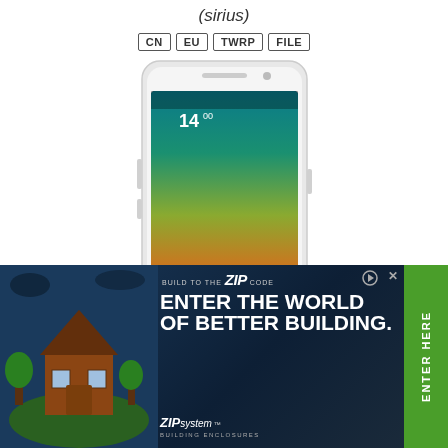(sirius)
CN  EU  TWRP  FILE
[Figure (photo): Xiaomi Mi Note smartphone product photo showing lock screen with time 14:00 and colorful wallpaper]
Mi Note
(virgo)
CN  GLOBAL  EU
[Figure (photo): Advertisement banner: BUILD TO THE ZIP CODE - ENTER THE WORLD OF BETTER BUILDING. ZIPsystem BUILDING ENCLOSURES. With house illustration and green ENTER HERE sidebar.]